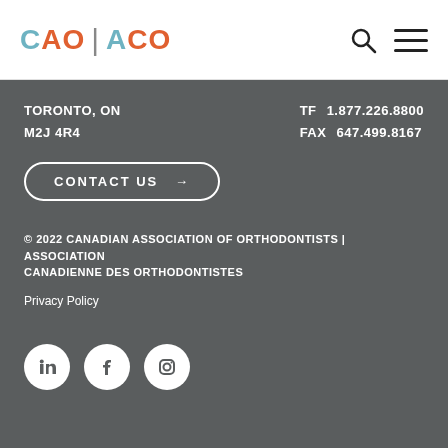[Figure (logo): CAO | ACO logo with teal and orange lettering]
TORONTO, ON
M2J 4R4
TF 1.877.226.8800
FAX 647.499.8167
CONTACT US →
© 2022 CANADIAN ASSOCIATION OF ORTHODONTISTS | ASSOCIATION CANADIENNE DES ORTHODONTISTES
Privacy Policy
[Figure (illustration): LinkedIn, Facebook, and Instagram social media icons in white circles on grey background]